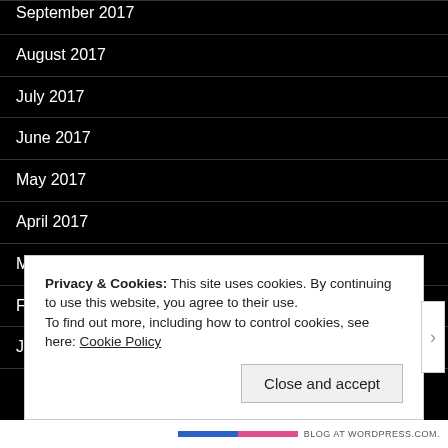September 2017
August 2017
July 2017
June 2017
May 2017
April 2017
March 2017
February 2017
January 2017
Privacy & Cookies: This site uses cookies. By continuing to use this website, you agree to their use. To find out more, including how to control cookies, see here: Cookie Policy
Close and accept